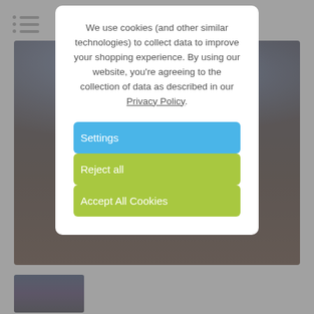[Figure (screenshot): Website screenshot showing a dark nighttime photo of illuminated ruins under a starry sky, partially obscured by a cookie consent modal dialog. A hamburger menu icon is visible in the top left. A small thumbnail preview is visible at the bottom left.]
We use cookies (and other similar technologies) to collect data to improve your shopping experience. By using our website, you're agreeing to the collection of data as described in our Privacy Policy.
Settings
Reject all
Accept All Cookies